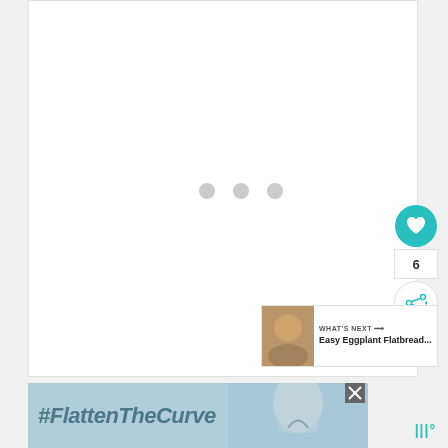[Figure (screenshot): White content area with three gray loading dots in the center, representing a loading state of a web page]
[Figure (infographic): Social interaction buttons: teal heart/like button, count showing 6, and share button]
[Figure (infographic): What's Next card showing Easy Eggplant Flatbread... with food thumbnail image]
[Figure (screenshot): Advertisement banner with #FlattenTheCurve text on light blue background with faucet/handwashing image, close button, and logo]